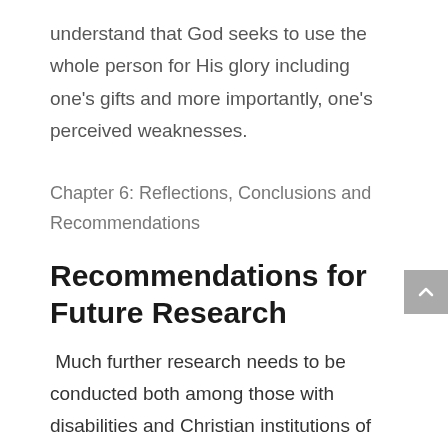understand that God seeks to use the whole person for His glory including one's gifts and more importantly, one's perceived weaknesses.
Chapter 6: Reflections, Conclusions and Recommendations
Recommendations for Future Research
Much further research needs to be conducted both among those with disabilities and Christian institutions of